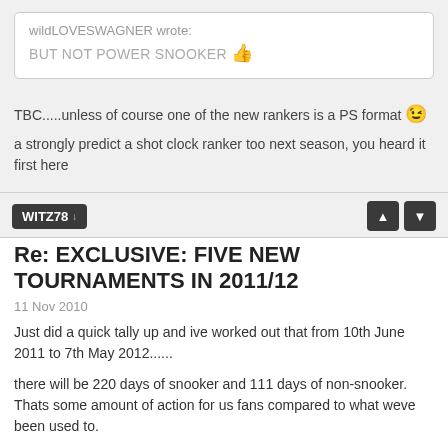wildLOVESWAGNER wrote: BUT NOT POWER SNOOKER 👍
TBC.....unless of course one of the new rankers is a PS format 😉
a strongly predict a shot clock ranker too next season, you heard it first here
WITZ78 ↓
Re: EXCLUSIVE: FIVE NEW TOURNAMENTS IN 2011/12
11 Nov 2010
Just did a quick tally up and ive worked out that from 10th June 2011 to 7th May 2012......
there will be 220 days of snooker and 111 days of non-snooker. Thats some amount of action for us fans compared to what weve been used to.
But by my reckoning these pros even if they entered all events and won all events would still be putting in less hours than the average working man (and being paid far more handsomely) so theres no reason for any players to moan.
TUBBERLAD ↓